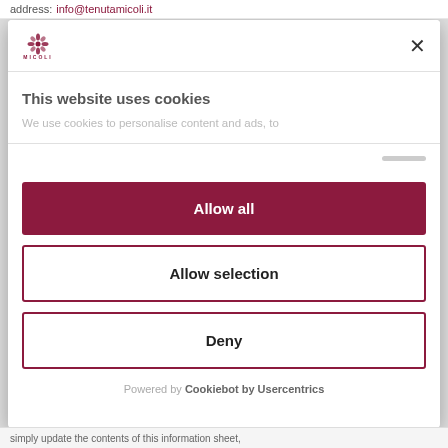address: info@tenutamicoli.it
[Figure (logo): Micoli logo - decorative floral emblem with MICOLI text below]
This website uses cookies
We use cookies to personalise content and ads, to
Allow all
Allow selection
Deny
Powered by Cookiebot by Usercentrics
simply update the contents of this information sheet,